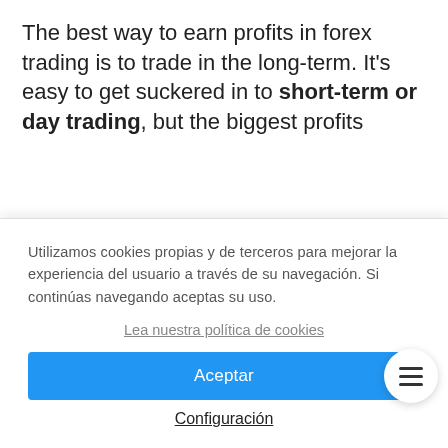The best way to earn profits in forex trading is to trade in the long-term. It's easy to get suckered in to short-term or day trading, but the biggest profits
are seen over weeks and even months. Currency trends depend the trends of large economies, and
Utilizamos cookies propias y de terceros para mejorar la experiencia del usuario a través de su navegación. Si continúas navegando aceptas su uso.
Lea nuestra política de cookies
Aceptar
Configuración